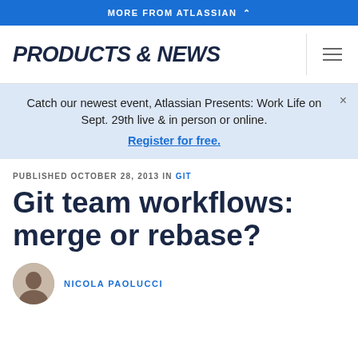MORE FROM ATLASSIAN
PRODUCTS & NEWS
Catch our newest event, Atlassian Presents: Work Life on Sept. 29th live & in person or online. Register for free.
PUBLISHED OCTOBER 28, 2013 IN GIT
Git team workflows: merge or rebase?
NICOLA PAOLUCCI